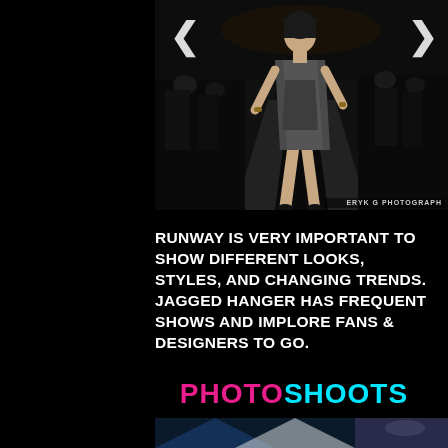[Figure (photo): Fashion runway photo showing a model walking in a grey/dark leather dress on a black runway with audience in background. Navigation arrows visible. Watermark 'ERYK G PHOTOGRAPH' in bottom right.]
RUNWAY IS VERY IMPORTANT TO SHOW DIFFERENT LOOKS, STYLES, AND CHANGING TRENDS. JAGGED HANGER HAS FREQUENT SHOWS AND IMPLORE FANS & DESIGNERS TO GO.
PHOTOSHOOTS
[Figure (photo): Partial view of another photo at the bottom of the page, showing blue and grey tones.]